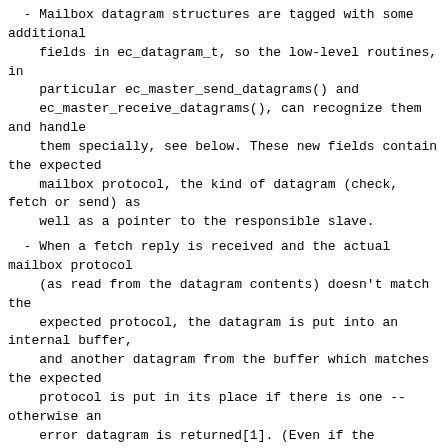- Mailbox datagram structures are tagged with some additional
    fields in ec_datagram_t, so the low-level routines, in
    particular ec_master_send_datagrams() and
    ec_master_receive_datagrams(), can recognize them and handle
    them specially, see below. These new fields contain the expected
    mailbox protocol, the kind of datagram (check, fetch or send) as
    well as a pointer to the responsible slave.
- When a fetch reply is received and the actual mailbox protocol
    (as read from the datagram contents) doesn't match the
    expected protocol, the datagram is put into an internal buffer,
    and another datagram from the buffer which matches the expected
    protocol is put in its place if there is one -- otherwise an
    error datagram is returned[1]. (Even if the protocol matches, it
    may need to be swapped with a buffered one, so datagrams are
    returned in the correct order.)
- If a check reply is received, its answer is
    ...